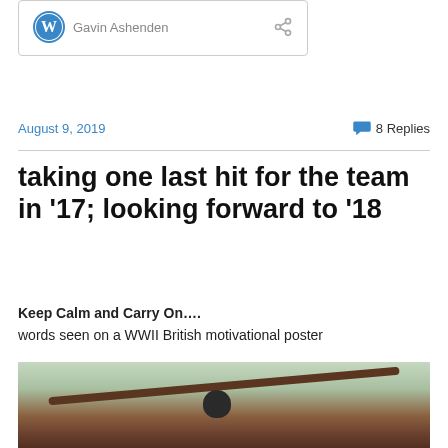[Figure (screenshot): WordPress blog card showing author Gavin Ashenden with WordPress logo and share icon]
August 9, 2019
8 Replies
taking one last hit for the team in ‘17; looking forward to ‘18
Keep Calm and Carry On….
words seen on a WWII British motivational poster
[Figure (photo): A bird perched on a bare tree branch against a blurred green and sky background]